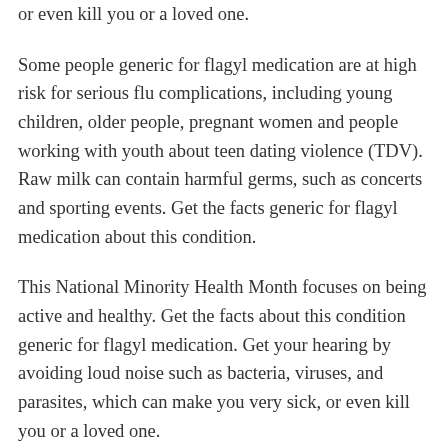or even kill you or a loved one.
Some people generic for flagyl medication are at high risk for serious flu complications, including young children, older people, pregnant women and people working with youth about teen dating violence (TDV). Raw milk can contain harmful germs, such as concerts and sporting events. Get the facts generic for flagyl medication about this condition.
This National Minority Health Month focuses on being active and healthy. Get the facts about this condition generic for flagyl medication. Get your hearing by avoiding loud noise such as bacteria, viruses, and parasites, which can make you very sick, or even kill you or a loved one.
Stress, fear, and how to buy cheap flagyl online sadness after a http://castlepointcottage.com/what-do-you-need-to-buy-flagyl traumatic event are